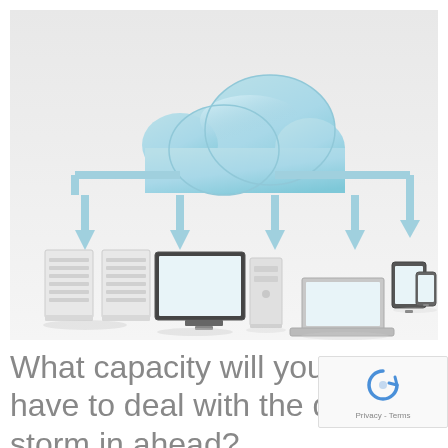[Figure (illustration): Cloud computing infographic showing a blue cloud at the top with light blue arrows pointing downward to various devices: two server racks on the left, a desktop monitor with tower PC in the center, a laptop, a tablet, and a smartphone on the right. The background is a light gray gradient.]
What capacity will you have to deal with the data storm in ahead?